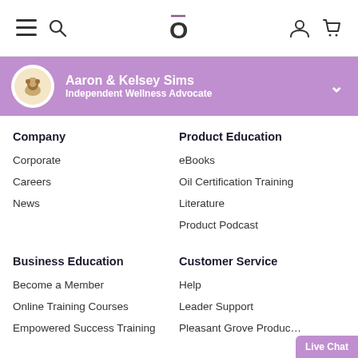Navigation bar with menu, search, logo, user, and cart icons
Aaron & Kelsey Sims — Independent Wellness Advocate
Company
Corporate
Careers
News
Product Education
eBooks
Oil Certification Training
Literature
Product Podcast
Business Education
Become a Member
Online Training Courses
Empowered Success Training
Customer Service
Help
Leader Support
Pleasant Grove Produc…